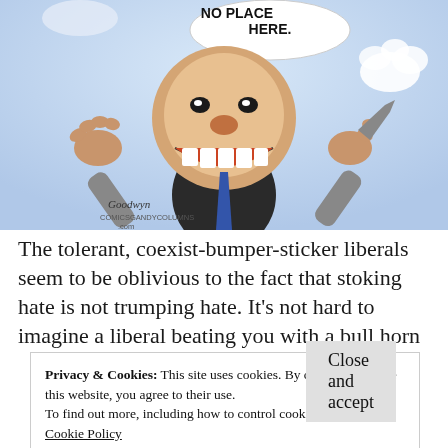[Figure (illustration): Political cartoon by Goodwyn showing a caricatured figure with large head, raised hands, wide grin, with speech bubble reading 'No Place Here.' Signed 'Goodwyn' with website. Blue/white background.]
The tolerant, coexist-bumper-sticker liberals seem to be oblivious to the fact that stoking hate is not trumping hate. It’s not hard to imagine a liberal beating you with a bull horn in between singing verses
Privacy & Cookies: This site uses cookies. By continuing to use this website, you agree to their use.
To find out more, including how to control cookies, see here: Cookie Policy
Close and accept